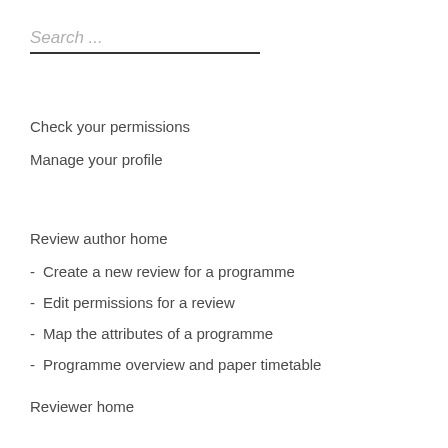Search ...
Check your permissions
Manage your profile
Review author home
- Create a new review for a programme
- Edit permissions for a review
- Map the attributes of a programme
- Programme overview and paper timetable
Reviewer home